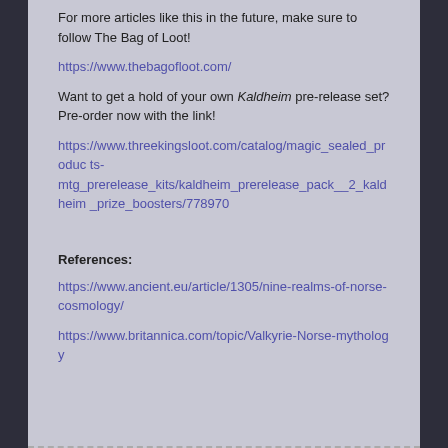For more articles like this in the future, make sure to follow The Bag of Loot!
https://www.thebagofloot.com/
Want to get a hold of your own Kaldheim pre-release set? Pre-order now with the link!
https://www.threekingsloot.com/catalog/magic_sealed_products-mtg_prerelease_kits/kaldheim_prerelease_pack__2_kaldheim_prize_boosters/778970
References:
https://www.ancient.eu/article/1305/nine-realms-of-norse-cosmology/
https://www.britannica.com/topic/Valkyrie-Norse-mythology